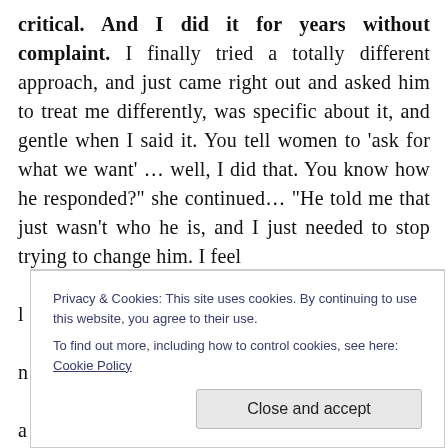critical. And I did it for years without complaint. I finally tried a totally different approach, and just came right out and asked him to treat me differently, was specific about it, and gentle when I said it. You tell women to 'ask for what we want' ... well, I did that. You know how he responded?" she continued... "He told me that just wasn't who he is, and I just needed to stop trying to change him. I feel l ... n ... a ... T
Privacy & Cookies: This site uses cookies. By continuing to use this website, you agree to their use. To find out more, including how to control cookies, see here: Cookie Policy